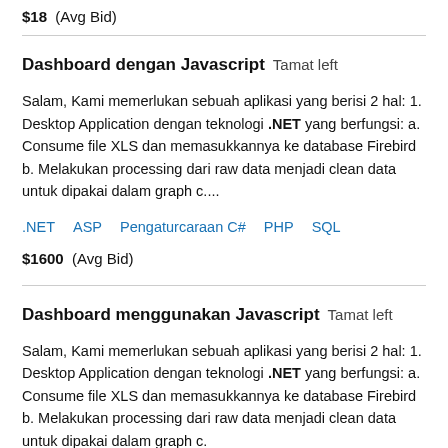$18   (Avg Bid)
Dashboard dengan Javascript   Tamat left
Salam, Kami memerlukan sebuah aplikasi yang berisi 2 hal: 1. Desktop Application dengan teknologi .NET yang berfungsi: a. Consume file XLS dan memasukkannya ke database Firebird b. Melakukan processing dari raw data menjadi clean data untuk dipakai dalam graph c....
.NET   ASP   Pengaturcaraan C#   PHP   SQL
$1600   (Avg Bid)
Dashboard menggunakan Javascript   Tamat left
Salam, Kami memerlukan sebuah aplikasi yang berisi 2 hal: 1. Desktop Application dengan teknologi .NET yang berfungsi: a. Consume file XLS dan memasukkannya ke database Firebird b. Melakukan processing dari raw data menjadi clean data untuk dipakai dalam graph c.